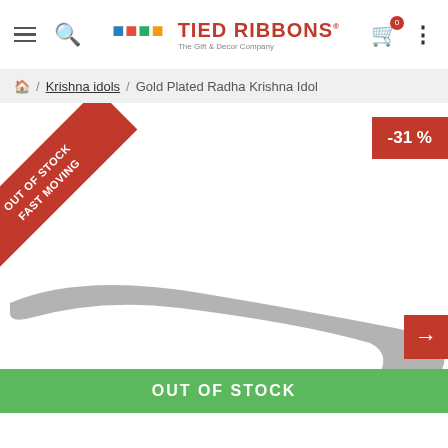Tied Ribbons - The Gift & Decor Company
Home / Krishna idols / Gold Plated Radha Krishna Idol
[Figure (screenshot): Product image area showing a Gold Plated Radha Krishna Idol with 'Out of Stock - Fast Moving' ribbon banner in red on top-left corner, -31% discount badge on top-right, a navigation arrow button on right side, and an 'OUT OF STOCK' green bar at the bottom. The product image shows a partial silhouette/shadow of an idol in grey.]
OUT OF STOCK